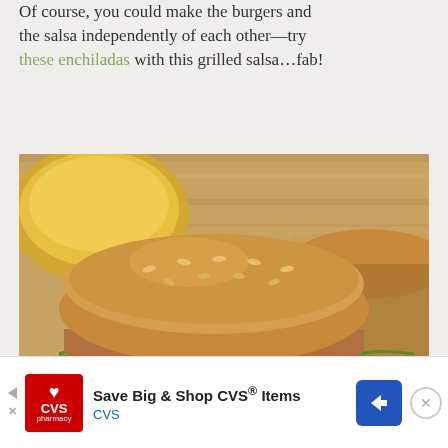Of course, you could make the burgers and the salsa independently of each other—try these enchiladas with this grilled salsa…fab!
[Figure (photo): Close-up photo of a turkey fajita burger on a whole-grain seeded bun with avocado, dark sauteed vegetables, and lettuce, on a wooden cutting board with a yellow bowl and another burger in background]
Turkey Fajita Burgers with Grilled Tomatillo Salsa
makes about 4-5 burgers and makes about 2 cups salsa verde